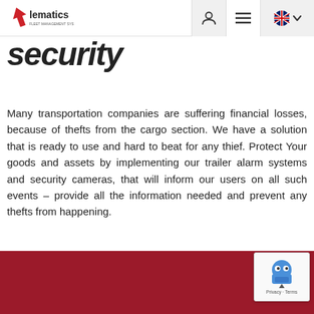lematics - fleet management systems navigation header
security
Many transportation companies are suffering financial losses, because of thefts from the cargo section. We have a solution that is ready to use and hard to beat for any thief. Protect Your goods and assets by implementing our trailer alarm systems and security cameras, that will inform our users on all such events – provide all the information needed and prevent any thefts from happening.
[Figure (other): Dark red/crimson footer band at the bottom of the page]
[Figure (other): reCAPTCHA badge with robot icon and Privacy - Terms links]